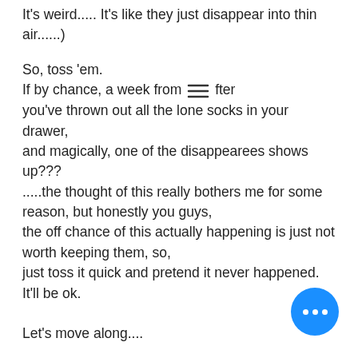It's weird..... It's like they just disappear into thin air......)
So, toss 'em.
If by chance, a week from [menu icon] fter you've thrown out all the lone socks in your drawer,
and magically, one of the disappearees shows up???
.....the thought of this really bothers me for some reason, but honestly you guys, the off chance of this actually happening is just not worth keeping them, so,
just toss it quick and pretend it never happened.
It'll be ok.

Let's move along....